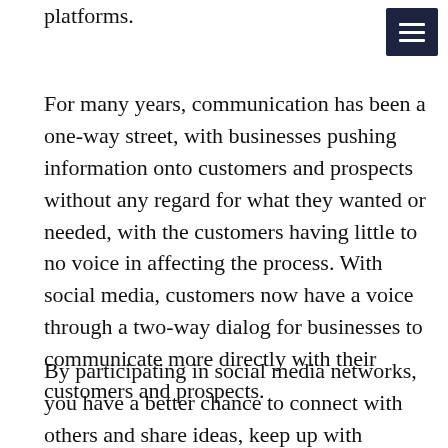platforms.
For many years, communication has been a one-way street, with businesses pushing information onto customers and prospects without any regard for what they wanted or needed, with the customers having little to no voice in affecting the process. With social media, customers now have a voice through a two-way dialog for businesses to communicate more directly with their customers and prospects.
By participating in social media networks, you have a better chance to connect with others and share ideas, keep up with changes in your industry, talk directly with your customers, stay informed, and increase the number of leads you generate for your